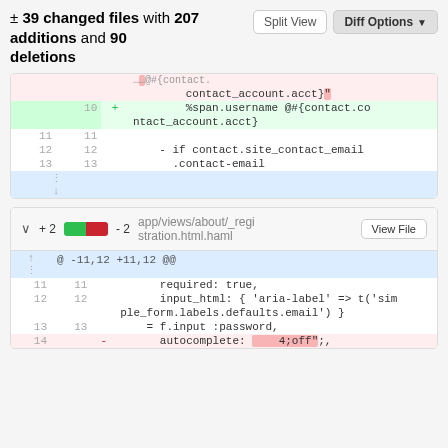± 39 changed files with 207 additions and 90 deletions
[Figure (screenshot): Git diff view showing two file diffs with code additions and deletions]
@ -11,12 +11,12 @@
app/views/about/_registration.html.haml